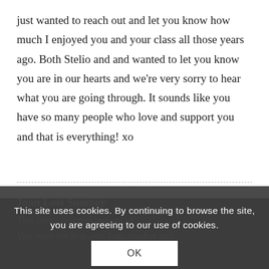just wanted to reach out and let you know how much I enjoyed you and your class all those years ago. Both Stelio and and wanted to let you know you are in our hearts and we're very sorry to hear what you are going through. It sounds like you have so many people who love and support you and that is everything! xo
Joan Lois Sumner
This seems so cruel and unfair.
You were my first ever yoga teacher and
This site uses cookies. By continuing to browse the site, you are agreeing to our use of cookies.